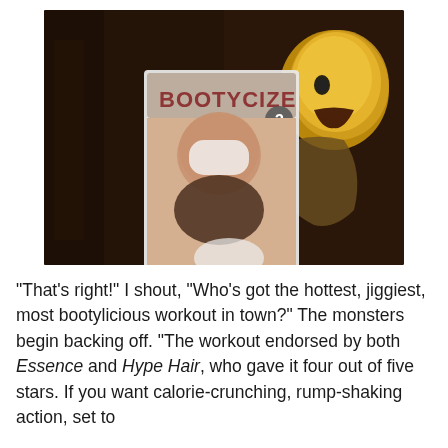[Figure (photo): A dark, horror-themed scene showing a monster/creature with glowing head screaming, holding a 'BOOTYCIZE 3' workout DVD/video box that shows a person in workout clothes.]
"That's right!" I shout, "Who's got the hottest, jiggiest, most bootylicious workout in town?" The monsters begin backing off. "The workout endorsed by both Essence and Hype Hair, who gave it four out of five stars. If you want calorie-crunching, rump-shaking action, set to